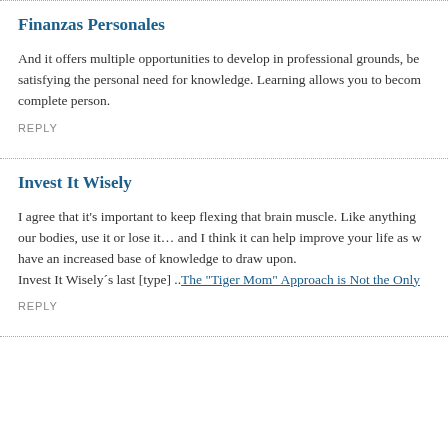Finanzas Personales
And it offers multiple opportunities to develop in professional grounds, be satisfying the personal need for knowledge. Learning allows you to become a complete person.
REPLY
Invest It Wisely
I agree that it’s important to keep flexing that brain muscle. Like anything our bodies, use it or lose it… and I think it can help improve your life as w have an increased base of knowledge to draw upon.
Invest It Wisely´s last [type] ..The “Tiger Mom” Approach is Not the Only
REPLY